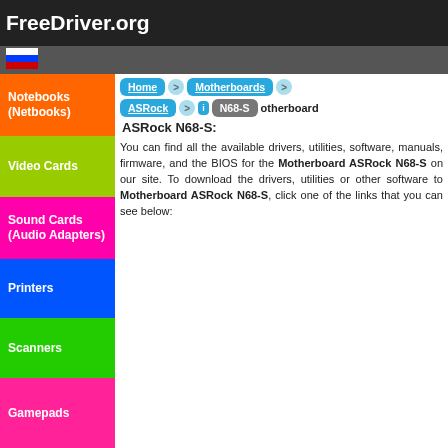FreeDriver.org
[Figure (illustration): Russian flag icon in navigation bar]
Notebooks (Netbooks)
Video Cards
Sound Cards (Audio Adapters)
Printers
Scanners
Gamepads
D... (> in Motherboard ASRock N68-S:
You can find all the available drivers, utilities, software, manuals, firmware, and the BIOS for the Motherboard ASRock N68-S on our site. To download the drivers, utilities or other software to Motherboard ASRock N68-S, click one of the links that you can see below: